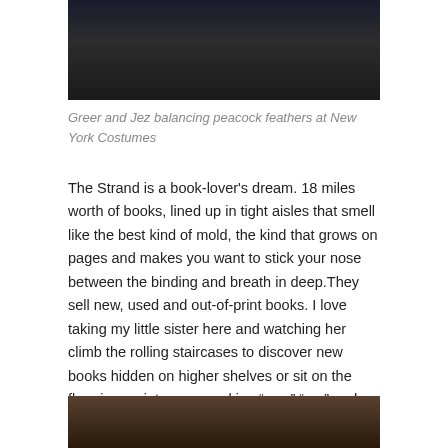[Figure (photo): Photo of Greer and Jez at New York Costumes, partially visible at top of page]
Greer and Jez balancing peacock feathers at New York Costumes
The Strand is a book-lover's dream. 18 miles worth of books, lined up in tight aisles that smell like the best kind of mold, the kind that grows on pages and makes you want to stick your nose between the binding and breath in deep.They sell new, used and out-of-print books. I love taking my little sister here and watching her climb the rolling staircases to discover new books hidden on higher shelves or sit on the floor in a quiet corner making “yes,” “no,” and “maybe” piles. I knew Greer was an avid reader, so I thought she’d appreciate the sheer quantity of books offered at this amazing store.
[Figure (photo): Photo of bookstore shelves at The Strand, partially visible at bottom of page]